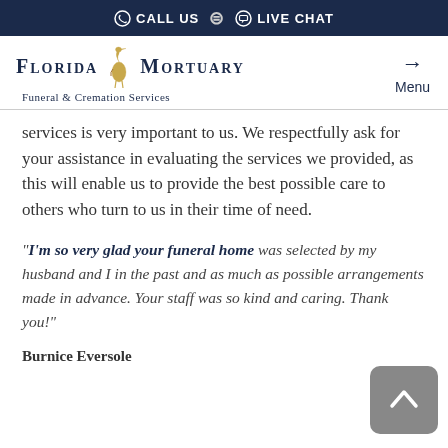CALL US   LIVE CHAT
[Figure (logo): Florida Mortuary Funeral & Cremation Services logo with heron bird]
services is very important to us. We respectfully ask for your assistance in evaluating the services we provided, as this will enable us to provide the best possible care to others who turn to us in their time of need.
"I'm so very glad your funeral home was selected by my husband and I in the past and as much as possible arrangements made in advance. Your staff was so kind and caring. Thank you!"
Burnice Eversole